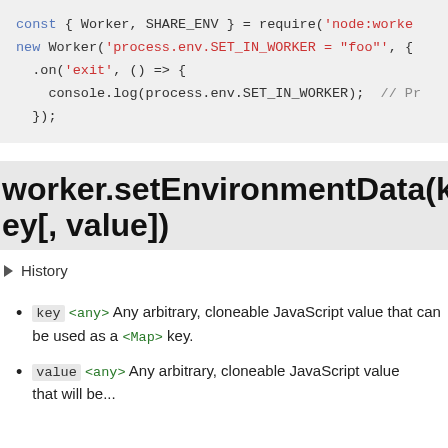[Figure (screenshot): Code block showing Node.js worker_threads usage with syntax highlighting. Blue keywords: const, new. Red string literals: 'node:worker_threads', 'process.env.SET_IN_WORKER = "foo"', 'exit'. Black/dark code: { Worker, SHARE_ENV } = require(...), .on(...) => {, console.log(process.env.SET_IN_WORKER); // Pr, });]
worker.setEnvironmentData(key[, value])
History
key <any> Any arbitrary, cloneable JavaScript value that can be used as a <Map> key.
value <any> Any arbitrary, cloneable JavaScript value that will be...